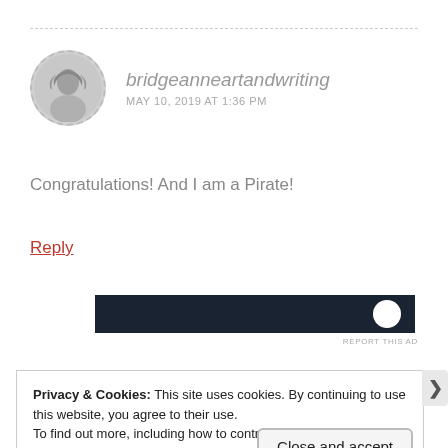[Figure (photo): User avatar photo of a woman with curly hair, displayed in a circular dashed border]
bridgeanneartandwriting
MAY 10, 2019 AT 1:36 PM
Congratulations! And I am a Pirate!
Reply
[Figure (screenshot): Dark advertisement banner with white circular logo element on right]
REPORT THIS AD
Privacy & Cookies: This site uses cookies. By continuing to use this website, you agree to their use.
To find out more, including how to control cookies, see here: Cookie Policy
Close and accept